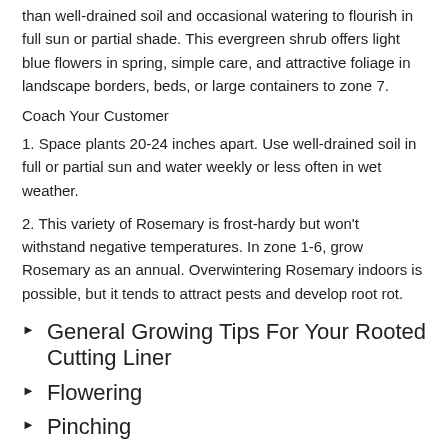than well-drained soil and occasional watering to flourish in full sun or partial shade. This evergreen shrub offers light blue flowers in spring, simple care, and attractive foliage in landscape borders, beds, or large containers to zone 7.
Coach Your Customer
1. Space plants 20-24 inches apart. Use well-drained soil in full or partial sun and water weekly or less often in wet weather.
2. This variety of Rosemary is frost-hardy but won't withstand negative temperatures. In zone 1-6, grow Rosemary as an annual. Overwintering Rosemary indoors is possible, but it tends to attract pests and develop root rot.
General Growing Tips For Your Rooted Cutting Liner
Flowering
Pinching
Spacing
Height Control